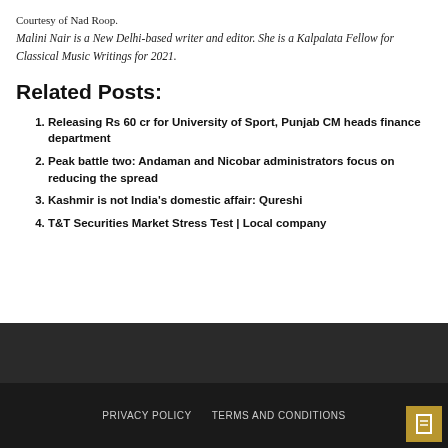Courtesy of Nad Roop.
Malini Nair is a New Delhi-based writer and editor. She is a Kalpalata Fellow for Classical Music Writings for 2021.
Related Posts:
Releasing Rs 60 cr for University of Sport, Punjab CM heads finance department
Peak battle two: Andaman and Nicobar administrators focus on reducing the spread
Kashmir is not India's domestic affair: Qureshi
T&T Securities Market Stress Test | Local company
PRIVACY POLICY   TERMS AND CONDITIONS